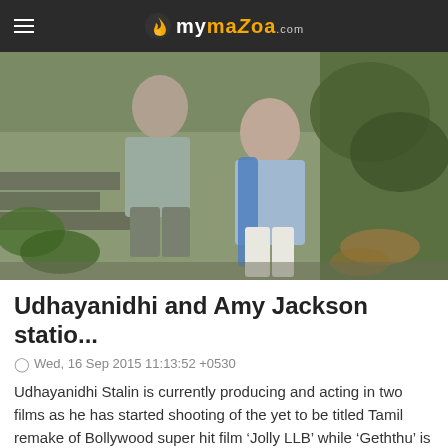mymazaa.com
[Figure (photo): A man and a woman sitting on outdoor stone steps surrounded by greenery. The woman wears a blue outfit and the man wears a grey shirt and olive pants.]
Udhayanidhi and Amy Jackson statio...
Wed, 16 Sep 2015 11:13:52 +0530
Udhayanidhi Stalin is currently producing and acting in two films as he has started shooting of the yet to be titled Tamil remake of Bollywood super hit film 'Jolly LLB' while 'Geththu' is yet to be wrapped up.The shooting of 'Geththu' directed by